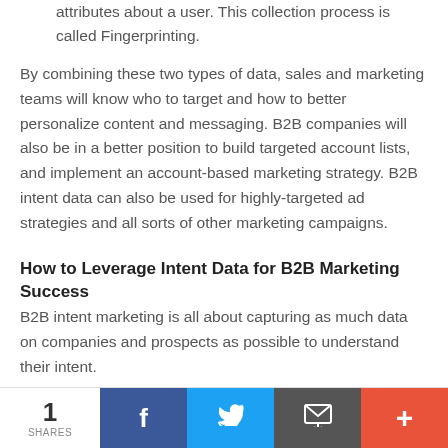attributes about a user. This collection process is called Fingerprinting.
By combining these two types of data, sales and marketing teams will know who to target and how to better personalize content and messaging. B2B companies will also be in a better position to build targeted account lists, and implement an account-based marketing strategy. B2B intent data can also be used for highly-targeted ad strategies and all sorts of other marketing campaigns.
How to Leverage Intent Data for B2B Marketing Success
B2B intent marketing is all about capturing as much data on companies and prospects as possible to understand their intent.
1 SHARES | Facebook | Twitter | Email | More